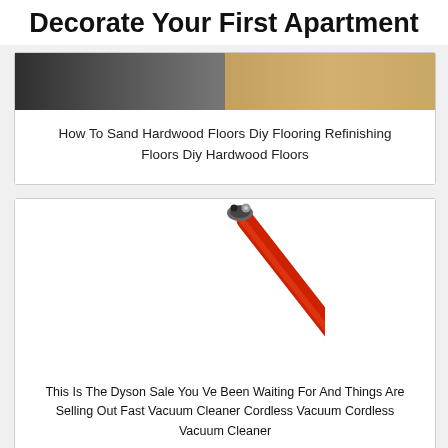Decorate Your First Apartment
[Figure (photo): Photo of hardwood floors being sanded, showing a person and flooring tools]
How To Sand Hardwood Floors Diy Flooring Refinishing Floors Diy Hardwood Floors
[Figure (photo): Close-up of a red Dyson cordless vacuum cleaner stick/wand on white background]
This Is The Dyson Sale You Ve Been Waiting For And Things Are Selling Out Fast Vacuum Cleaner Cordless Vacuum Cordless Vacuum Cleaner
CLOSE